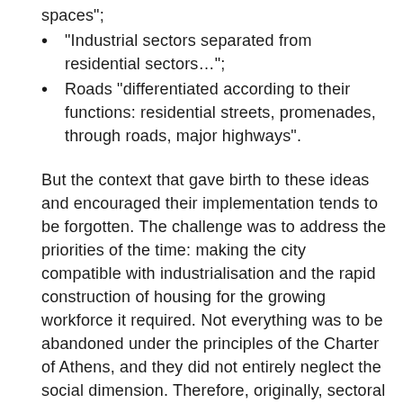spaces";
"Industrial sectors separated from residential sectors…";
Roads "differentiated according to their functions: residential streets, promenades, through roads, major highways".
But the context that gave birth to these ideas and encouraged their implementation tends to be forgotten. The challenge was to address the priorities of the time: making the city compatible with industrialisation and the rapid construction of housing for the growing workforce it required. Not everything was to be abandoned under the principles of the Charter of Athens, and they did not entirely neglect the social dimension. Therefore, originally, sectoral specialisation was thought of as the way to protect housing – and